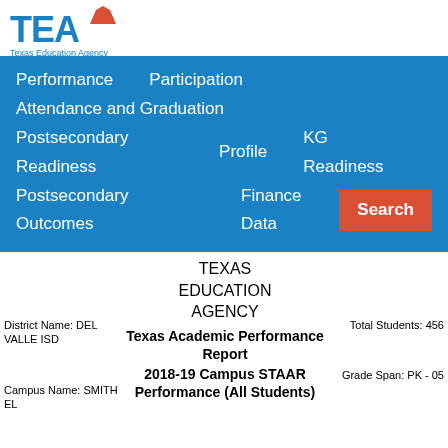[Figure (logo): Texas Education Agency (TEA) logo with blue TEA text and orange arrow, and 'Texas Education Agency' text below]
[Figure (screenshot): Blue navigation bar with menu items: Performance, Participation, Attendance and Graduation, Postsecondary Readiness, Profile, KG Readiness, Postsecondary Outcomes, Finance Data, and a red Search button]
TEXAS EDUCATION AGENCY
Texas Academic Performance Report
2018-19 Campus STAAR Performance (All Students)
District Name: DEL VALLE ISD
Total Students: 456
Campus Name: SMITH EL
Grade Span: PK - 05